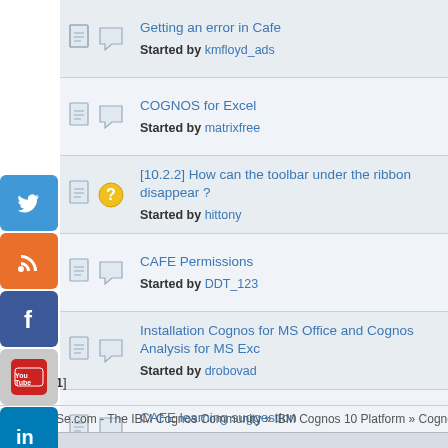Getting an error in Cafe
Started by kmfloyd_ads
COGNOS for Excel
Started by matrixfree
[10.2.2] How can the toolbar under the ribbon disappear ?
Started by hittony
CAFE Permissions
Started by DDT_123
Installation Cognos for MS Office and Cognos Analysis for MS Exc
Started by drobovad
CAFE learning suggestion
Started by Chandrasekar
SSAS and Cafe and long member names
Started by dhandler
Error in Cognos Analysis for Excel v10.1.1
Started by simplyguru
Cognos Analytics for Microsoft Excel issues
Started by JackCognos
Pages: [1]
COGNOiSe.com - The IBM Cognos Community » IBM Cognos 10 Platform » Cognos 10